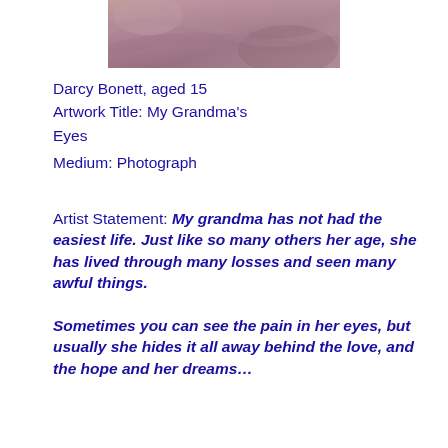[Figure (photo): Close-up photograph of fabric or skin with pink/mauve tones, partial view cropped at top]
Darcy Bonett, aged 15
Artwork Title: My Grandma's Eyes
Medium: Photograph
Artist Statement: My grandma has not had the easiest life. Just like so many others her age, she has lived through many losses and seen many awful things. Sometimes you can see the pain in her eyes, but usually she hides it all away behind the love, and the hope and her dreams…